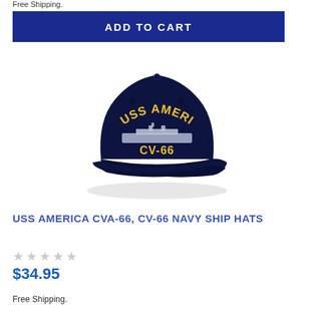Free Shipping.
ADD TO CART
[Figure (photo): Dark navy blue baseball cap with embroidered text 'USS AMERICA CV-66' in yellow lettering and a ship silhouette emblem on the front panel.]
USS AMERICA CVA-66, CV-66 NAVY SHIP HATS
★★★★★
$34.95
Free Shipping.